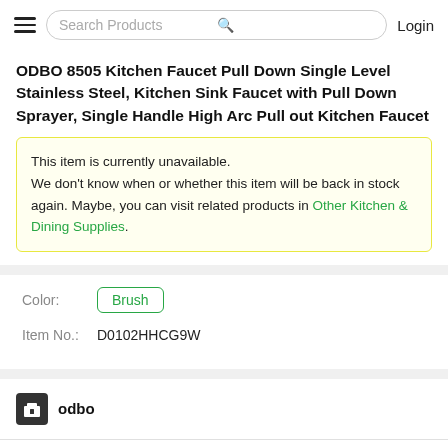Search Products | Login
ODBO 8505 Kitchen Faucet Pull Down Single Level Stainless Steel, Kitchen Sink Faucet with Pull Down Sprayer, Single Handle High Arc Pull out Kitchen Faucet
This item is currently unavailable. We don’t know when or whether this item will be back in stock again. Maybe, you can visit related products in Other Kitchen & Dining Supplies.
Color: Brush
Item No.: D0102HHCG9W
odbo
Return & Refund